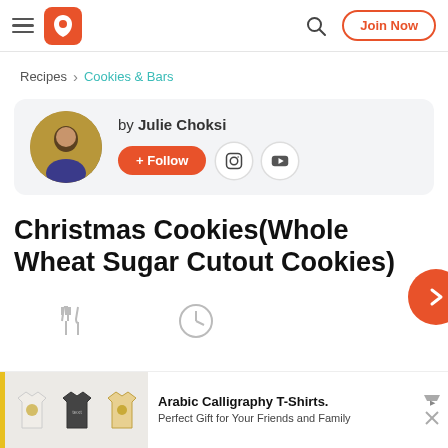Recipes > Cookies & Bars — Join Now
Recipes  >  Cookies & Bars
by Julie Choksi + Follow
Christmas Cookies(Whole Wheat Sugar Cutout Cookies)
[Figure (screenshot): Advertisement banner: Arabic Calligraphy T-Shirts. Perfect Gift for Your Friends and Family]
Arabic Calligraphy T-Shirts. Perfect Gift for Your Friends and Family